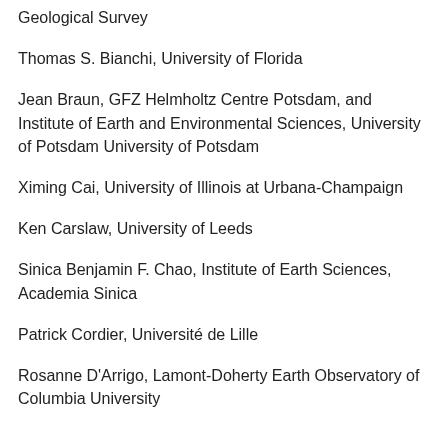Geological Survey
Thomas S. Bianchi, University of Florida
Jean Braun, GFZ Helmholtz Centre Potsdam, and Institute of Earth and Environmental Sciences, University of Potsdam University of Potsdam
Ximing Cai, University of Illinois at Urbana-Champaign
Ken Carslaw, University of Leeds
Sinica Benjamin F. Chao, Institute of Earth Sciences, Academia Sinica
Patrick Cordier, Université de Lille
Rosanne D'Arrigo, Lamont-Doherty Earth Observatory of Columbia University